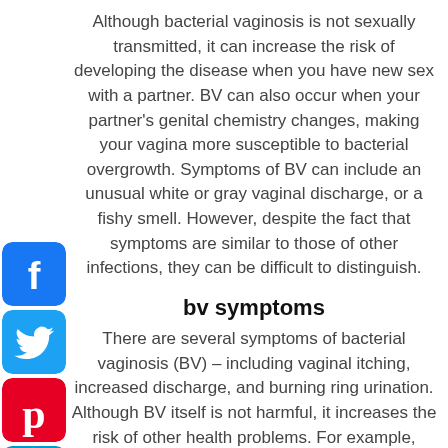Although bacterial vaginosis is not sexually transmitted, it can increase the risk of developing the disease when you have new sex with a partner. BV can also occur when your partner's genital chemistry changes, making your vagina more susceptible to bacterial overgrowth. Symptoms of BV can include an unusual white or gray vaginal discharge, or a fishy smell. However, despite the fact that symptoms are similar to those of other infections, they can be difficult to distinguish.
bv symptoms
There are several symptoms of bacterial vaginosis (BV) – including vaginal itching, increased discharge, and burning ring urination. Although BV itself is not harmful, it increases the risk of other health problems. For example, chorioamnionitis in the womb is associated with significantly higher risk of premature delivery and cerebral palsy in newborns. Although BV does not cause infertility, it can increase the risk of STI. Symptoms Develop That You may first